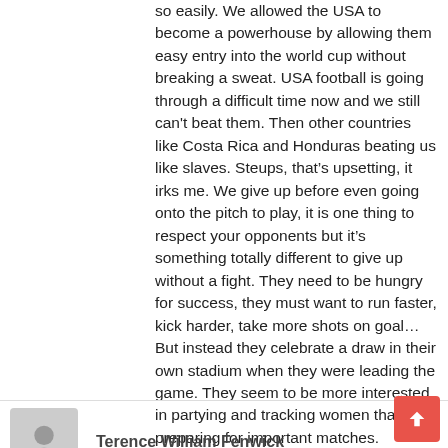so easily. We allowed the USA to become a powerhouse by allowing them easy entry into the world cup without breaking a sweat. USA football is going through a difficult time now and we still can't beat them. Then other countries like Costa Rica and Honduras beating us like slaves. Steups, that's upsetting, it irks me. We give up before even going onto the pitch to play, it is one thing to respect your opponents but it's something totally different to give up without a fight. They need to be hungry for success, they must want to run faster, kick harder, take more shots on goal... But instead they celebrate a draw in their own stadium when they were leading the game. They seem to be more interested in partying and tracking women that preparing for important matches.
Reply
Terence William Fenwick